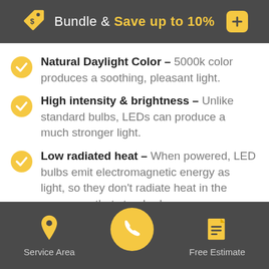Bundle & Save up to 10%
Natural Daylight Color – 5000k color produces a soothing, pleasant light.
High intensity & brightness – Unlike standard bulbs, LEDs can produce a much stronger light.
Low radiated heat – When powered, LED bulbs emit electromagnetic energy as light, so they don't radiate heat in the same way that standard bulbs...
Service Area | [phone] | Free Estimate